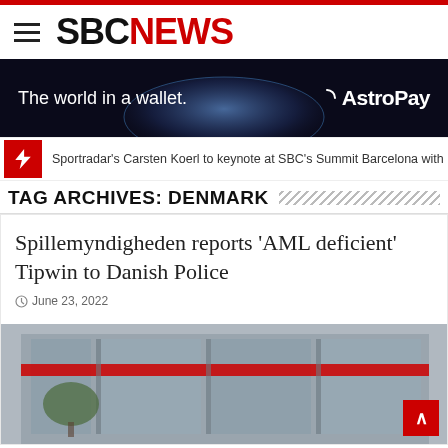SBC NEWS
[Figure (illustration): AstroPay advertisement banner: dark background with globe, text 'The world in a wallet.' on the left, AstroPay logo on the right]
Sportradar's Carsten Koerl to keynote at SBC's Summit Barcelona with indust
TAG ARCHIVES: DENMARK
Spillemyndigheden reports 'AML deficient' Tipwin to Danish Police
June 23, 2022
[Figure (photo): Street-level photo of what appears to be a police or government building with glass facade and red banner elements]